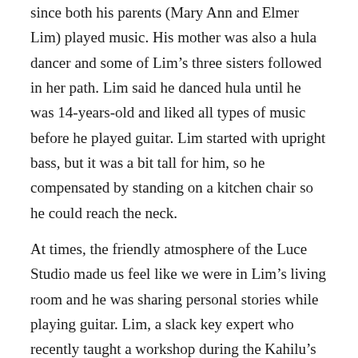since both his parents (Mary Ann and Elmer Lim) played music. His mother was also a hula dancer and some of Lim’s three sisters followed in her path. Lim said he danced hula until he was 14-years-old and liked all types of music before he played guitar. Lim started with upright bass, but it was a bit tall for him, so he compensated by standing on a kitchen chair so he could reach the neck.
At times, the friendly atmosphere of the Luce Studio made us feel like we were in Lim’s living room and he was sharing personal stories while playing guitar. Lim, a slack key expert who recently taught a workshop during the Kahilu’s annual Ukulele and Slack Key Festival, said he became fascinated with the genre’s history and tuning’s origins. He explained the musical journey began when the Mexican vaqueros (cow